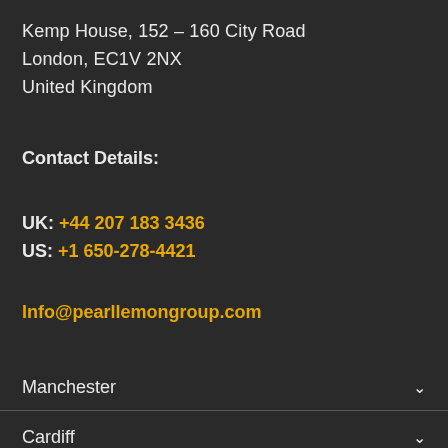Kemp House, 152 – 160 City Road
London, EC1V 2NX
United Kingdom
Contact Details:
UK: +44 207 183 3436
US: +1 650-278-4421
Info@pearllemongroup.com
Manchester
Cardiff